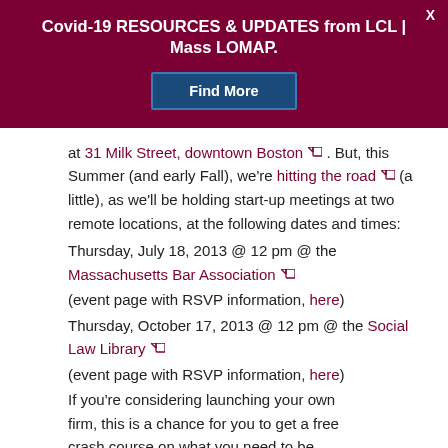Covid-19 RESOURCES & UPDATES from LCL | Mass LOMAP.
Find More
at 31 Milk Street, downtown Boston. But, this Summer (and early Fall), we're hitting the road (a little), as we'll be holding start-up meetings at two remote locations, at the following dates and times: Thursday, July 18, 2013 @ 12 pm @ the Massachusetts Bar Association (event page with RSVP information, here) Thursday, October 17, 2013 @ 12 pm @ the Social Law Library (event page with RSVP information, here) If you're considering launching your own firm, this is a chance for you to get a free crash course on what you need to be thinking about. We hope you can join us . . .
Liner Notes
There's nothing like...